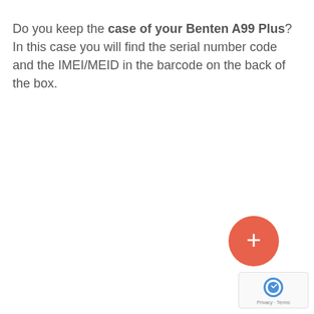Do you keep the case of your Benten A99 Plus? In this case you will find the serial number code and the IMEI/MEID in the barcode on the back of the box.
[Figure (other): Red circular FAB (floating action button) with a white plus sign (+) in the bottom-right area of the page]
[Figure (logo): Google reCAPTCHA badge in bottom-right corner with logo and Privacy - Terms text]